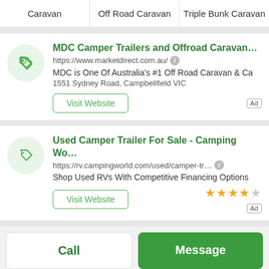Caravan
Off Road Caravan
Triple Bunk Caravan
MDC Camper Trailers and Offroad Caravan...
https://www.marketdirect.com.au/
MDC is One Of Australia's #1 Off Road Caravan & Ca
1551 Sydney Road, Campbellfield VIC
Used Camper Trailer For Sale - Camping Wo...
https://rv.campingworld.com/used/camper-tr...
Shop Used RVs With Competitive Financing Options
Call
Message
Posted by: MDC Camper Trailers and Offroad Caravans (M...